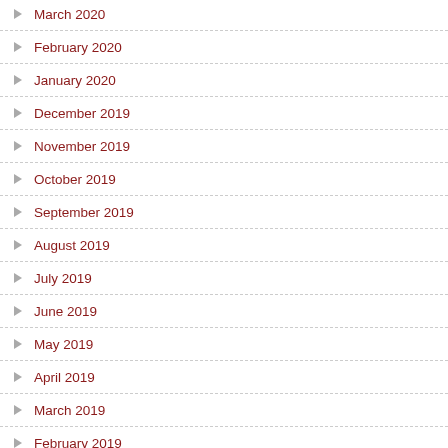March 2020
February 2020
January 2020
December 2019
November 2019
October 2019
September 2019
August 2019
July 2019
June 2019
May 2019
April 2019
March 2019
February 2019
January 2019
December 2018